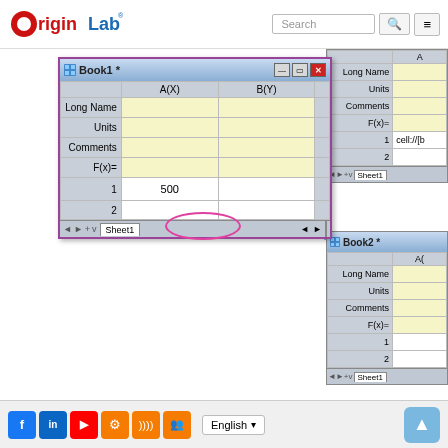[Figure (screenshot): OriginLab website header with logo, search bar, and navigation menu buttons]
[Figure (screenshot): Book1 spreadsheet window showing columns A(X) and B(Y) with rows: Long Name, Units, Comments, F(x)=, and row 1 containing value 500 in A(X) column, highlighted with a pink ellipse. A partial view of another spreadsheet (Book1) is visible on the right side showing column A with Long Name, Units, Comments, F(x)=, row 1, and row 2 rows, with cell://[b notation. Book2 spreadsheet window on the right shows column A with Long Name, Units, Comments, F(x)=, row 1, and row 2 rows.]